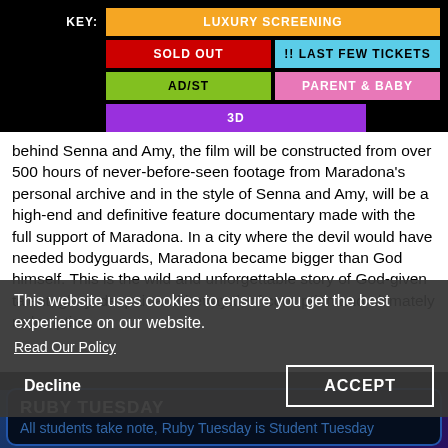| KEY: | LUXURY SCREENING | SOLD OUT | !! LAST FEW TICKETS | AD/ST | PARENT & BABY | 3D |
| --- | --- | --- | --- | --- | --- | --- |
behind Senna and Amy, the film will be constructed from over 500 hours of never-before-seen footage from Maradona's personal archive and in the style of Senna and Amy, will be a high-end and definitive feature documentary made with the full support of Maradona. In a city where the devil would have needed bodyguards, Maradona became bigger than God himself. This is the wild and unforgettable story of God-given talent, glory, despair and betrayal, of corruption and ultimately redemption.
This website uses cookies to ensure you get the best experience on our website.
Read Our Policy
Decline
ACCEPT
PROMOTIONS
RUBY TUESDAY
All students take note, Ruby Tuesday is Student Tuesday